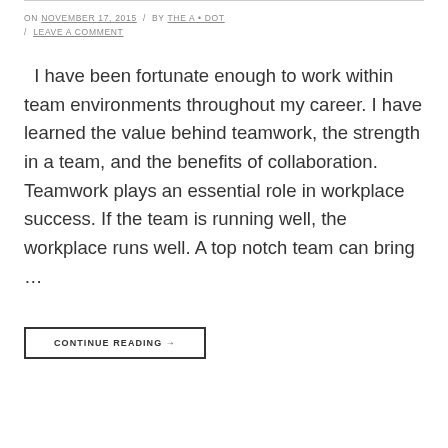ON NOVEMBER 17, 2015 / BY THE A • DOT / LEAVE A COMMENT
I have been fortunate enough to work within team environments throughout my career. I have learned the value behind teamwork, the strength in a team, and the benefits of collaboration. Teamwork plays an essential role in workplace success. If the team is running well, the workplace runs well. A top notch team can bring …
CONTINUE READING →